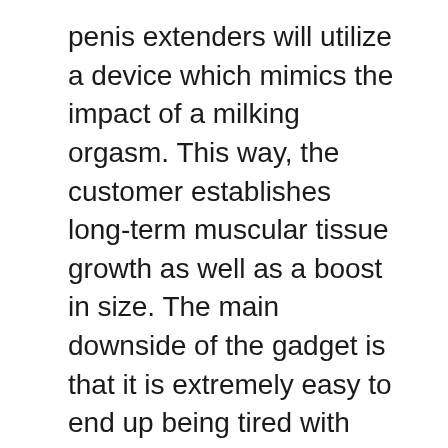penis extenders will utilize a device which mimics the impact of a milking orgasm. This way, the customer establishes long-term muscular tissue growth as well as a boost in size. The main downside of the gadget is that it is extremely easy to end up being tired with the regular which leads to customers giving up their program.
You can discover a great deal of information about penis extenders and also penis stretchers online. Nevertheless, prior to parting with your cash, see to it that you do not obtain scammed by purchasing an affordable device that will certainly provide you no outcomes. If you are planning to purchase a penis extender or a penis stretcher, see to it that you check out